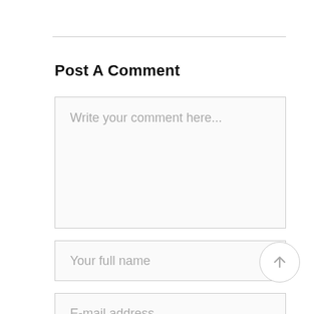Post A Comment
Write your comment here...
Your full name
E-mail address